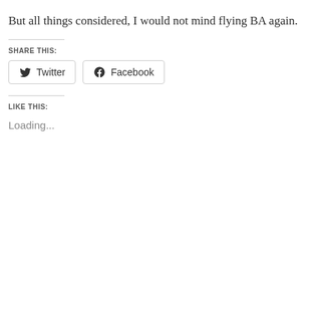But all things considered, I would not mind flying BA again.
SHARE THIS:
[Figure (other): Twitter and Facebook share buttons]
LIKE THIS:
Loading...